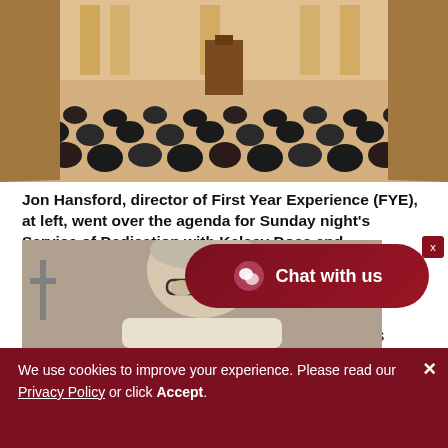[Figure (photo): Audience seated in a large hall viewed from the back, with a lit stage and podium in the background. People are seated in rows facing a wooden stage.]
Jon Hansford, director of First Year Experience (FYE), at left, went over the agenda for Sunday night's Service of Dedication with Kelsey Doss and Jacqueline Nelson. (Campbellsville University photo by Linda Waggener)
By Linda Waggener, marketing and media relations coordinator
[Figure (photo): Partial view of a man with gray hair and glasses standing near a cross symbol, in an indoor setting.]
Chat with us
We use cookies to improve your experience. Please read our Privacy Policy or click Accept.